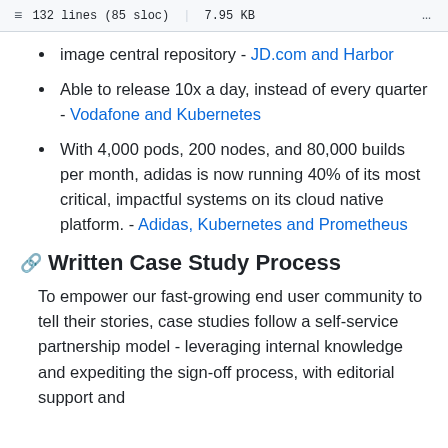132 lines (85 sloc)  |  7.95 KB
image central repository - JD.com and Harbor
Able to release 10x a day, instead of every quarter - Vodafone and Kubernetes
With 4,000 pods, 200 nodes, and 80,000 builds per month, adidas is now running 40% of its most critical, impactful systems on its cloud native platform. - Adidas, Kubernetes and Prometheus
Written Case Study Process
To empower our fast-growing end user community to tell their stories, case studies follow a self-service partnership model - leveraging internal knowledge and expediting the sign-off process, with editorial support and